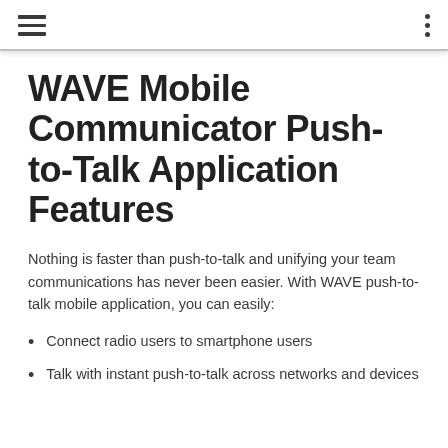WAVE Mobile Communicator Push-to-Talk Application Features
Nothing is faster than push-to-talk and unifying your team communications has never been easier. With WAVE push-to-talk mobile application, you can easily:
Connect radio users to smartphone users
Talk with instant push-to-talk across networks and devices